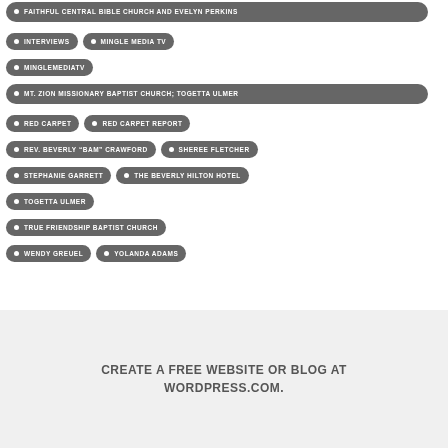FAITHFUL CENTRAL BIBLE CHURCH AND EVELYN PERKINS
INTERVIEWS
MINGLE MEDIA TV
MINGLEMEDIATV
MT. ZION MISSIONARY BAPTIST CHURCH; TOGETTA ULMER
RED CARPET
RED CARPET REPORT
REV. BEVERLY “BAM” CRAWFORD
SHEREE FLETCHER
STEPHANIE GARRETT
THE BEVERLY HILTON HOTEL
TOGETTA ULMER
TRUE FRIENDSHIP BAPTIST CHURCH
WENDY GREUEL
YOLANDA ADAMS
CREATE A FREE WEBSITE OR BLOG AT WORDPRESS.COM.